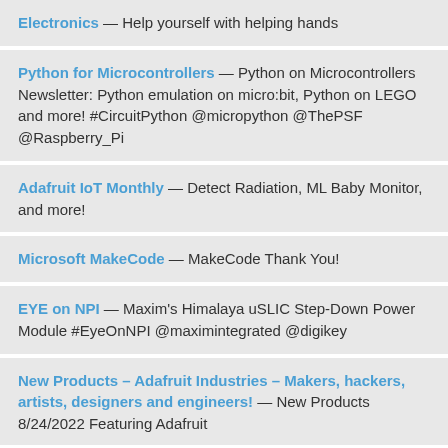Electronics — Help yourself with helping hands
Python for Microcontrollers — Python on Microcontrollers Newsletter: Python emulation on micro:bit, Python on LEGO and more! #CircuitPython @micropython @ThePSF @Raspberry_Pi
Adafruit IoT Monthly — Detect Radiation, ML Baby Monitor, and more!
Microsoft MakeCode — MakeCode Thank You!
EYE on NPI — Maxim's Himalaya uSLIC Step-Down Power Module #EyeOnNPI @maximintegrated @digikey
New Products – Adafruit Industries – Makers, hackers, artists, designers and engineers! — New Products 8/24/2022 Featuring Adafruit